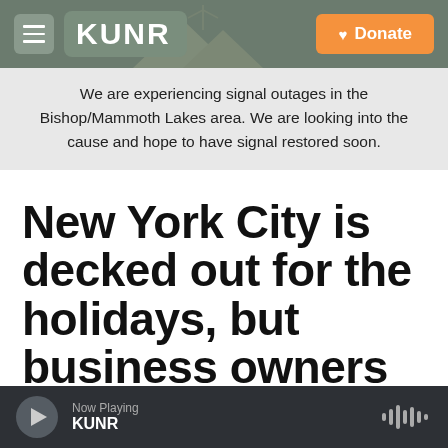KUNR | Donate
We are experiencing signal outages in the Bishop/Mammoth Lakes area. We are looking into the cause and hope to have signal restored soon.
New York City is decked out for the holidays, but business owners are anxious
Now Playing KUNR